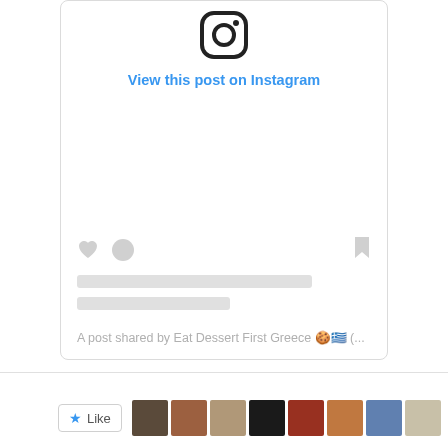[Figure (screenshot): Instagram embed card showing the Instagram logo at top, a 'View this post on Instagram' link in blue, a blank image area, like/comment/bookmark icons, two gray placeholder text bars, and attribution text 'A post shared by Eat Dessert First Greece 🍪🇬🇷 (...']
A post shared by Eat Dessert First Greece 🍪🇬🇷 (...
[Figure (screenshot): Bottom bar with a blue star Like button and a row of user thumbnail photos]
Like